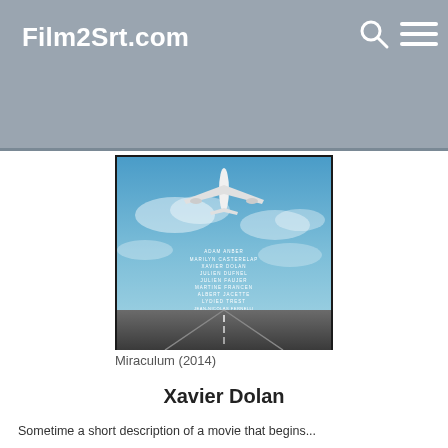Film2Srt.com
[Figure (photo): Movie poster for Miraculum (2014) showing a commercial airplane flying low over a runway with a blue sky background and list of cast names in white text]
Miraculum (2014)
Xavier Dolan
Sometime a short description of a movie that begins...